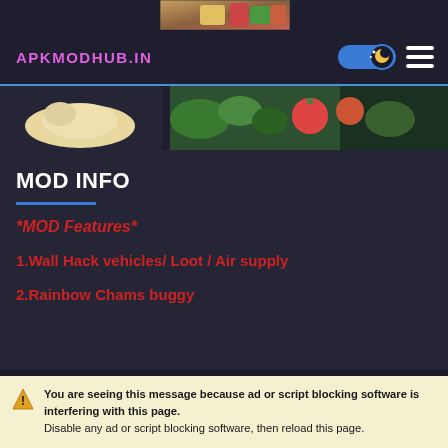[Figure (photo): Top banner food image strip showing vegetables and food items]
APKMODHUB.IN
[Figure (photo): Secondary food image strip with vegetables including tomatoes and greens]
MOD INFO
*MOD Features*
1.Wall Hack vehicles/ Loot / Air supply
2.Rainbow Chams buggy
DESCRIPTION
You are seeing this message because ad or script blocking software is interfering with this page. Disable any ad or script blocking software, then reload this page.